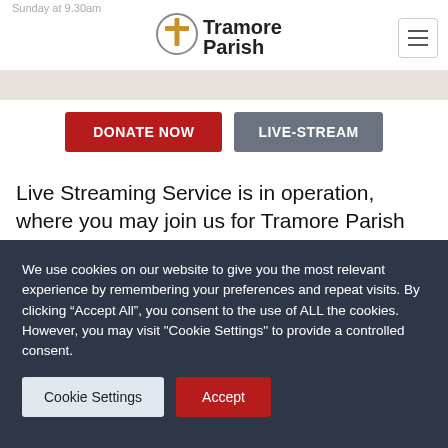Sunday at 9.30am
[Figure (logo): Tramore Parish logo with cross icon]
DONATE NOW
LIVE-STREAM
Live Streaming Service is in operation, where you may join us for Tramore Parish Services online from Holy Cross Church.
We use cookies on our website to give you the most relevant experience by remembering your preferences and repeat visits. By clicking “Accept All”, you consent to the use of ALL the cookies. However, you may visit "Cookie Settings" to provide a controlled consent.
Cookie Settings
Accept